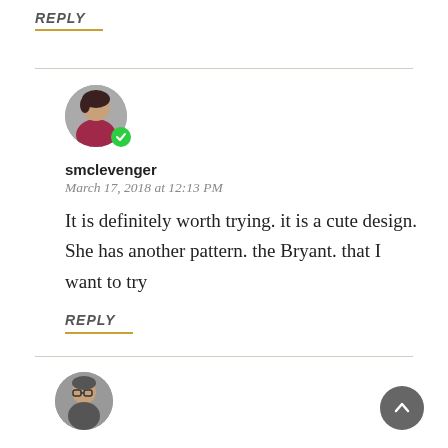REPLY
[Figure (photo): Round avatar photo of a woman in a red dress with a green checkmark badge]
smclevenger
March 17, 2018 at 12:13 PM
It is definitely worth trying. it is a cute design. She has another pattern. the Bryant. that I want to try
REPLY
[Figure (photo): Round avatar photo of a person with glasses]